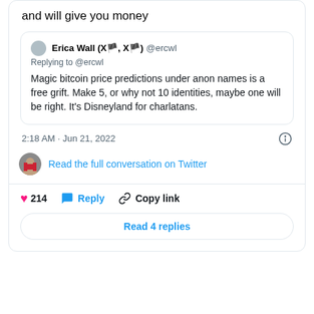and will give you money
Erica Wall (X🏴, X🏴) @ercwl
Replying to @ercwl
Magic bitcoin price predictions under anon names is a free grift. Make 5, or why not 10 identities, maybe one will be right. It's Disneyland for charlatans.
2:18 AM · Jun 21, 2022
Read the full conversation on Twitter
214
Reply
Copy link
Read 4 replies